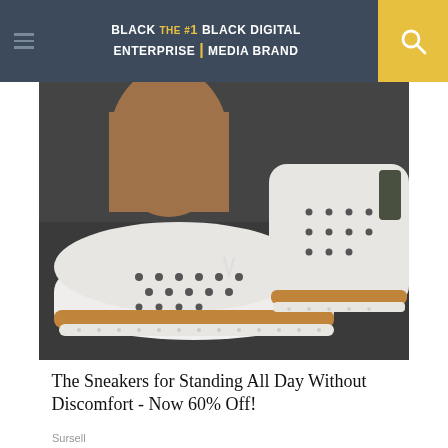BLACK ENTERPRISE - THE #1 BLACK DIGITAL MEDIA BRAND
[Figure (photo): Close-up photo of white espadrille-style sneakers with perforated design and tan/caramel cork-like platform sole, worn on feet against a dark background]
The Sneakers for Standing All Day Without Discomfort - Now 60% Off!
Sursell
[Figure (photo): Video thumbnail showing close-up of a wall-mounted fixture with metal hardware, partially blurred, with a muted audio icon overlay in the top-left corner]